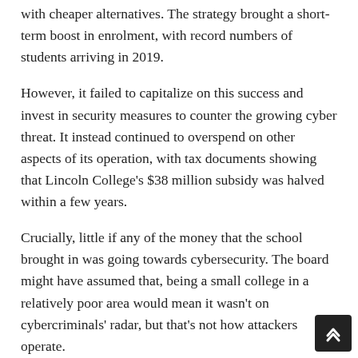with cheaper alternatives. The strategy brought a short-term boost in enrolment, with record numbers of students arriving in 2019.
However, it failed to capitalize on this success and invest in security measures to counter the growing cyber threat. It instead continued to overspend on other aspects of its operation, with tax documents showing that Lincoln College's $38 million subsidy was halved within a few years.
Crucially, little if any of the money that the school brought in was going towards cybersecurity. The board might have assumed that, being a small college in a relatively poor area would mean it wasn't on cybercriminals' radar, but that's not how attackers operate.
Crooks target weaknesses rather than specific organizations, and they are relentless in their attacks